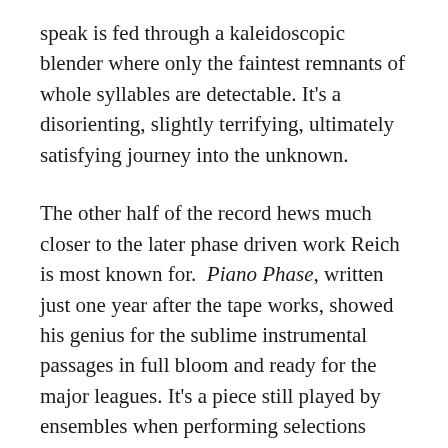speak is fed through a kaleidoscopic blender where only the faintest remnants of whole syllables are detectable. It's a disorienting, slightly terrifying, ultimately satisfying journey into the unknown.
The other half of the record hews much closer to the later phase driven work Reich is most known for. Piano Phase, written just one year after the tape works, showed his genius for the sublime instrumental passages in full bloom and ready for the major leagues. It's a piece still played by ensembles when performing selections from his vast body of work, and for good reason. The same ecstasy-wracked trance effects evident in this 20 minute blissout echo today throughout everything subsequently written by the man. Simply put, there would be no Music for 18 Musicians, Drumming, Octet, Different Trains/Electric